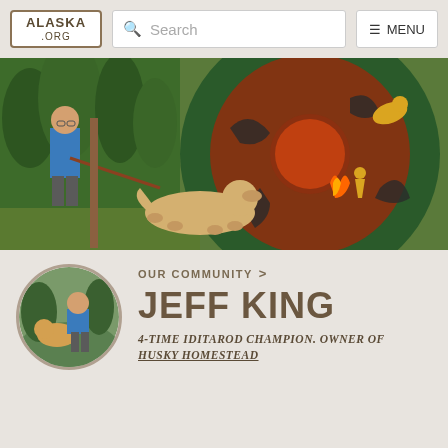ALASKA .ORG | Search | MENU
[Figure (photo): Hero photo of a man in a blue shirt holding a leash attached to a golden retriever dog, standing in front of a large colorful circular mural painting with Alaska-themed imagery including bears and dogs, outdoors with trees in background.]
[Figure (photo): Circular profile photo of a man posing with a golden retriever dog outdoors.]
OUR COMMUNITY >
JEFF KING
4-TIME IDITAROD CHAMPION. OWNER OF HUSKY HOMESTEAD